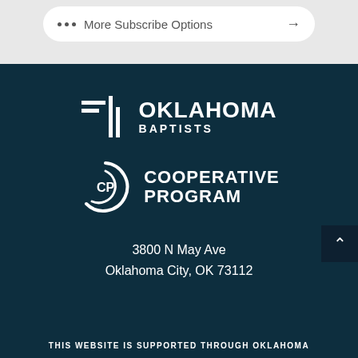More Subscribe Options →
[Figure (logo): Oklahoma Baptists logo — two horizontal bars and a vertical bar icon beside the text OKLAHOMA BAPTISTS]
[Figure (logo): Cooperative Program logo — CP inside a circular arc beside the text COOPERATIVE PROGRAM]
3800 N May Ave
Oklahoma City, OK 73112
THIS WEBSITE IS SUPPORTED THROUGH OKLAHOMA